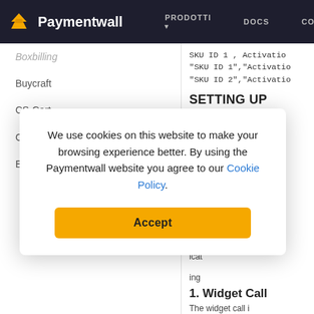Paymentwall | PRODOTTI | DOCS | COMPAGNIA
Boxbilling
Buycraft
CS-Cart
Cubilis
Easy Digital Downloads
Magento 2
Minecraft Market
SKU ID 1 , Activation...
"SKU ID 1","Activation...
"SKU ID 2","Activation...
SETTING UP
exte...
e in... ication...
ing
1. Widget Call
The widget call is...
We use cookies on this website to make your browsing experience better. By using the Paymentwall website you agree to our Cookie Policy.
Accept